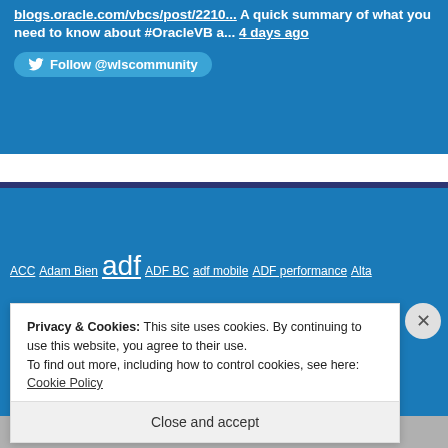Visual Builder blogs.oracle.com/vbcs/post/2210... A quick summary of what you need to know about #OracleVB a... 4 days ago
Follow @wlscommunity
ACC Adam Bien adf ADF BC adf mobile ADF performance Alta
Privacy & Cookies: This site uses cookies. By continuing to use this website, you agree to their use.
To find out more, including how to control cookies, see here: Cookie Policy
Close and accept